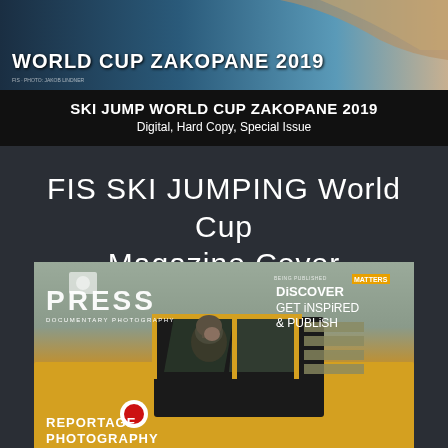[Figure (photo): Top banner photo of ski jumper in flight with blue sky background, with text 'WORLD CUP ZAKOPANE 2019' overlaid]
SKI JUMP WORLD CUP ZAKOPANE 2019
Digital, Hard Copy, Special Issue
FIS SKI JUMPING World Cup Magazine Cover
[Figure (photo): Magazine cover of PRESS Documentary Photography showing a pilot in a yellow aircraft cockpit with Polish roundel, text includes PRESS DOCUMENTARY PHOTOGRAPHY, BEING PUBLISHED MATTERS, DISCOVER GET INSPIRED & PUBLISH, REPORTAGE PHOTOGRAPHY]